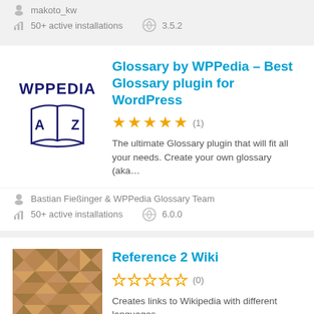makoto_kw
50+ active installations   3.5.2
Glossary by WPPedia – Best Glossary plugin for WordPress
★★★★★ (1)
The ultimate Glossary plugin that will fit all your needs. Create your own glossary (aka…
Bastian Fießinger & WPPedia Glossary Team
50+ active installations   6.0.0
Reference 2 Wiki
☆☆☆☆☆ (0)
Creates links to Wikipedia with different languages